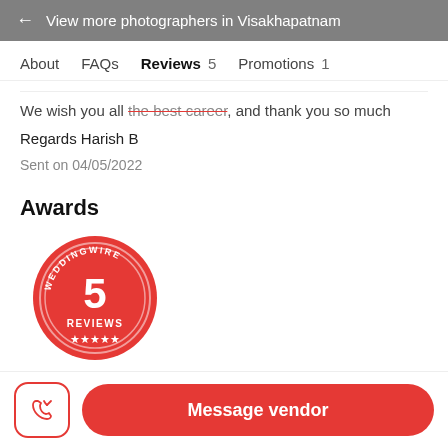← View more photographers in Visakhapatnam
About   FAQs   Reviews 5   Promotions 1
We wish you all the best career, and thank you so much
Regards Harish B
Sent on 04/05/2022
Awards
[Figure (logo): WeddingWire badge: red circular badge showing '5 REVIEWS' with 5 stars]
Message vendor